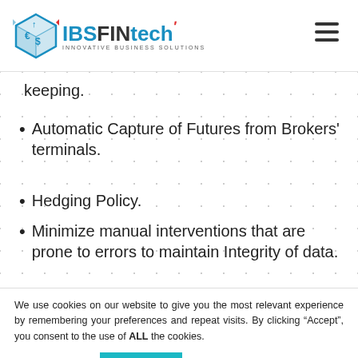IBS FINtech - Innovative Business Solutions
keeping.
Automatic Capture of Futures from Brokers' terminals.
Hedging Policy.
Minimize manual interventions that are prone to errors to maintain Integrity of data.
We use cookies on our website to give you the most relevant experience by remembering your preferences and repeat visits. By clicking “Accept”, you consent to the use of ALL the cookies.
Cookie settings  ACCEPT